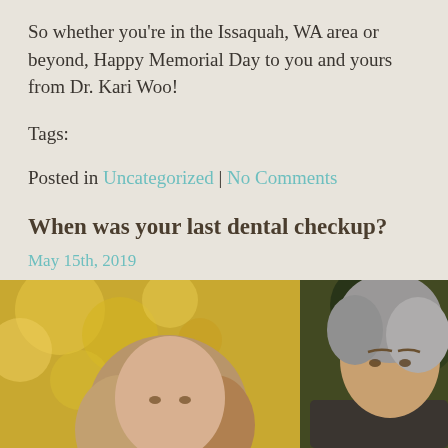So whether you're in the Issaquah, WA area or beyond, Happy Memorial Day to you and yours from Dr. Kari Woo!
Tags:
Posted in Uncategorized | No Comments
When was your last dental checkup?
May 15th, 2019
[Figure (photo): A middle-aged couple photographed outdoors with autumn yellow foliage in the background. A woman with light brown hair is visible on the left and a man with grey hair on the right.]